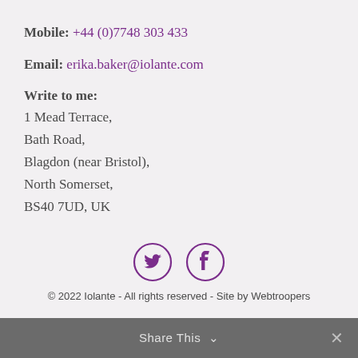Mobile: +44 (0)7748 303 433
Email: erika.baker@iolante.com
Write to me:
1 Mead Terrace,
Bath Road,
Blagdon (near Bristol),
North Somerset,
BS40 7UD, UK
[Figure (other): Twitter and Facebook social media icons (purple circles with bird and f symbols)]
© 2022 Iolante - All rights reserved - Site by Webtroopers
Share This ∨  ×